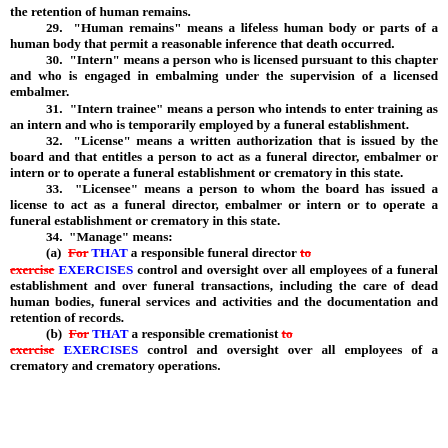the retention of human remains.
29. "Human remains" means a lifeless human body or parts of a human body that permit a reasonable inference that death occurred.
30. "Intern" means a person who is licensed pursuant to this chapter and who is engaged in embalming under the supervision of a licensed embalmer.
31. "Intern trainee" means a person who intends to enter training as an intern and who is temporarily employed by a funeral establishment.
32. "License" means a written authorization that is issued by the board and that entitles a person to act as a funeral director, embalmer or intern or to operate a funeral establishment or crematory in this state.
33. "Licensee" means a person to whom the board has issued a license to act as a funeral director, embalmer or intern or to operate a funeral establishment or crematory in this state.
34. "Manage" means:
(a) For [strikethrough] THAT a responsible funeral director to [strikethrough] exercise EXERCISES control and oversight over all employees of a funeral establishment and over funeral transactions, including the care of dead human bodies, funeral services and activities and the documentation and retention of records.
(b) For [strikethrough] THAT a responsible cremationist to [strikethrough] exercise EXERCISES control and oversight over all employees of a crematory and crematory operations.